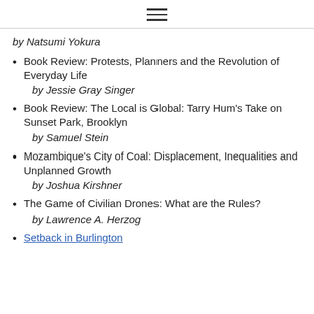≡
by Natsumi Yokura
Book Review: Protests, Planners and the Revolution of Everyday Life
by Jessie Gray Singer
Book Review: The Local is Global: Tarry Hum's Take on Sunset Park, Brooklyn
by Samuel Stein
Mozambique's City of Coal: Displacement, Inequalities and Unplanned Growth
by Joshua Kirshner
The Game of Civilian Drones: What are the Rules?
by Lawrence A. Herzog
Setback in Burlington